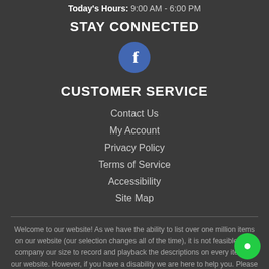Today's Hours: 9:00 AM - 6:00 PM
STAY CONNECTED
[Figure (logo): Facebook logo - blue circle with white letter f]
CUSTOMER SERVICE
Contact Us
My Account
Privacy Policy
Terms of Service
Accessibility
Site Map
Welcome to our website! As we have the ability to list over one million items on our website (our selection changes all of the time), it is not feasible for a company our size to record and playback the descriptions on every item on our website. However, if you have a disability we are here to help you. Please call our disability services phone line at 1-844-987-7368 during regular business hours and one of our kind and friendly personal shoppers will help you navigate through our website, help conduct advanced